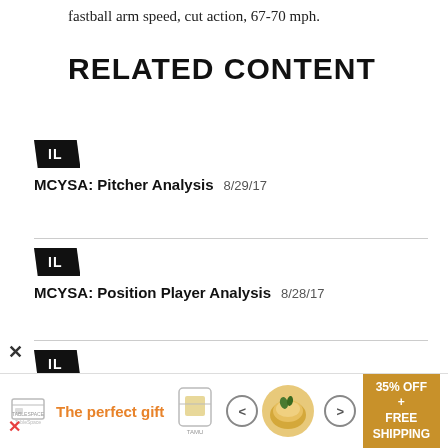fastball arm speed, cut action, 67-70 mph.
RELATED CONTENT
MCYSA: Pitcher Analysis  8/29/17
MCYSA: Position Player Analysis  8/28/17
MCYSA Summer International Showcase: Statistical Analysis  7/28/17
[Figure (other): Advertisement banner: The perfect gift, 35% OFF + FREE SHIPPING]